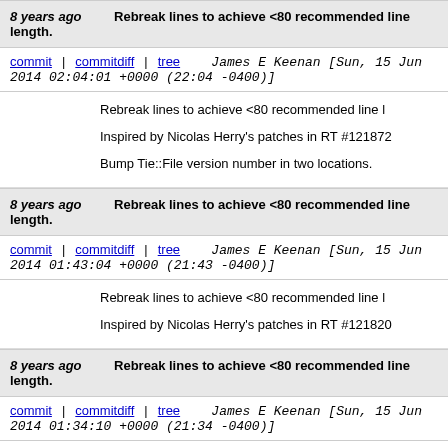8 years ago   Rebreak lines to achieve <80 recommended line length.
commit | commitdiff | tree   James E Keenan [Sun, 15 Jun 2014 02:04:01 +0000 (22:04 -0400)]
Rebreak lines to achieve <80 recommended line l
Inspired by Nicolas Herry's patches in RT #121872
Bump Tie::File version number in two locations.
8 years ago   Rebreak lines to achieve <80 recommended line length.
commit | commitdiff | tree   James E Keenan [Sun, 15 Jun 2014 01:43:04 +0000 (21:43 -0400)]
Rebreak lines to achieve <80 recommended line l
Inspired by Nicolas Herry's patches in RT #121820
8 years ago   Rebreak lines to achieve <80 recommended line length.
commit | commitdiff | tree   James E Keenan [Sun, 15 Jun 2014 01:34:10 +0000 (21:34 -0400)]